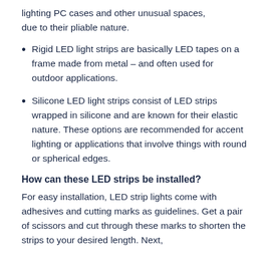lighting PC cases and other unusual spaces, due to their pliable nature.
Rigid LED light strips are basically LED tapes on a frame made from metal – and often used for outdoor applications.
Silicone LED light strips consist of LED strips wrapped in silicone and are known for their elastic nature. These options are recommended for accent lighting or applications that involve things with round or spherical edges.
How can these LED strips be installed?
For easy installation, LED strip lights come with adhesives and cutting marks as guidelines. Get a pair of scissors and cut through these marks to shorten the strips to your desired length. Next,